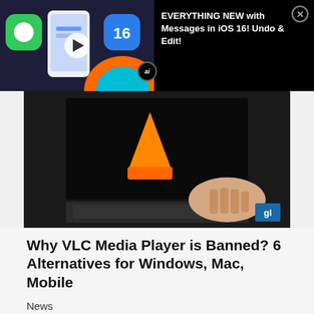[Figure (screenshot): Video overlay banner showing iOS 16 Messages thumbnail with play button, ai badge, and title text 'EVERYTHING NEW with Messages in iOS 16! Undo & Edit!' with close button, on black background]
[Figure (screenshot): Video thumbnail showing VLC media player orange cone logo on laptop screen with hands on keyboard, dark background, with GL logo in corner]
Why VLC Media Player is Banned? 6 Alternatives for Windows, Mac, Mobile
News
... Read More »